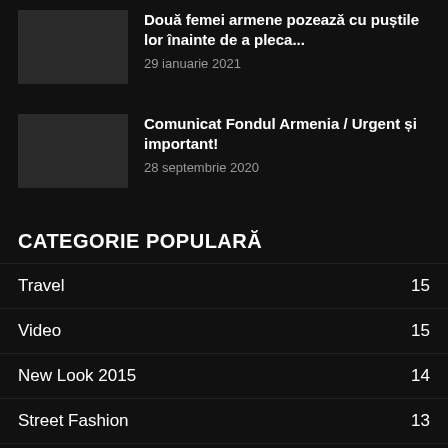Două femei armene pozează cu puștile lor înainte de a pleca...
29 ianuarie 2021
Comunicat Fondul Armenia / Urgent și important!
28 septembrie 2020
CATEGORIE POPULARĂ
Travel 15
Video 15
New Look 2015 14
Street Fashion 13
Style Hunter 13
Vogue 13